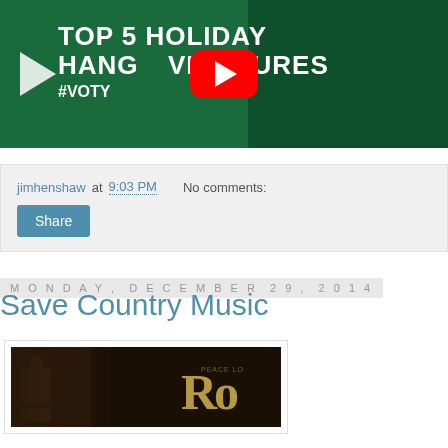[Figure (screenshot): YouTube video thumbnail with green background showing 'TOP 5 HOLIDAY HANGOVER CURES #VOTY' text with YouTube play button]
jimhenshaw at 9:03 PM    No comments:
Share
Monday, December 29, 2014
Save Country Music
[Figure (photo): Country music album cover showing a person with guitar and gold lettering 'RO...']